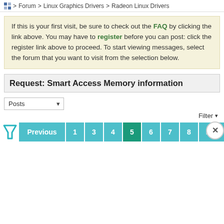Forum > Linux Graphics Drivers > Radeon Linux Drivers
If this is your first visit, be sure to check out the FAQ by clicking the link above. You may have to register before you can post: click the register link above to proceed. To start viewing messages, select the forum that you want to visit from the selection below.
Request: Smart Access Memory information
Posts dropdown and Filter controls
Pagination: Previous 1 3 4 5 6 7 8 Next